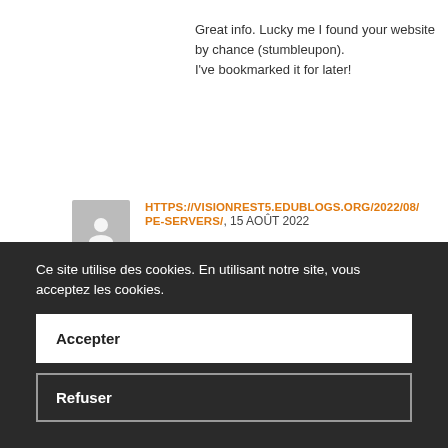Great info. Lucky me I found your website by chance (stumbleupon). I've bookmarked it for later!
HTTPS://VISIONREST5.EDUBLOGS.ORG/2022/08/PE-SERVERS/, 15 AOÛT 2022
I have read several just right stuff here. Definitely worth bookmarking for revisiting. I wonder how a lot effort you place to create one of these magnificent informative site.
Ce site utilise des cookies. En utilisant notre site, vous acceptez les cookies.
Accepter
Refuser